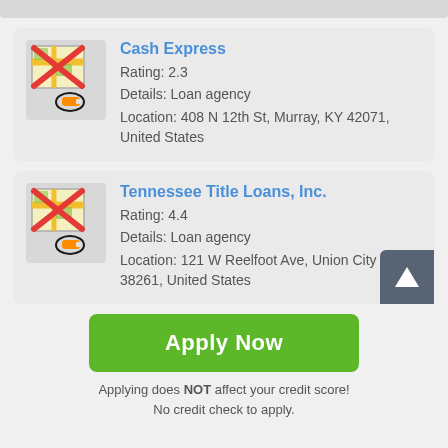[Figure (other): Listing card for Cash Express loan agency with crossed-out map icon]
Cash Express
Rating: 2.3
Details: Loan agency
Location: 408 N 12th St, Murray, KY 42071, United States
[Figure (other): Listing card for Tennessee Title Loans, Inc. loan agency with crossed-out map icon]
Tennessee Title Loans, Inc.
Rating: 4.4
Details: Loan agency
Location: 121 W Reelfoot Ave, Union City 38261, United States
Apply Now
Applying does NOT affect your credit score!
No credit check to apply.